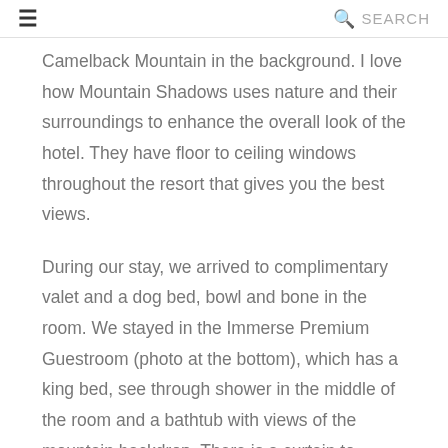≡  🔍 SEARCH
Camelback Mountain in the background. I love how Mountain Shadows uses nature and their surroundings to enhance the overall look of the hotel. They have floor to ceiling windows throughout the resort that gives you the best views.
During our stay, we arrived to complimentary valet and a dog bed, bowl and bone in the room. We stayed in the Immerse Premium Guestroom (photo at the bottom), which has a king bed, see through shower in the middle of the room and a bathtub with views of the mountain backdrop. There is a curtain to separate the bathroom to the bedroom if you need privacy, otherwise the room is completely